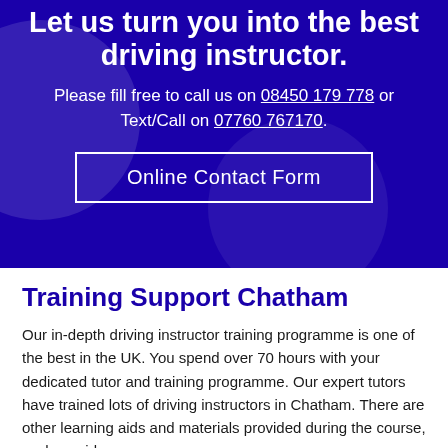Let us turn you into the best driving instructor.
Please fill free to call us on 08450 179 778 or Text/Call on 07760 767170.
Online Contact Form
Training Support Chatham
Our in-depth driving instructor training programme is one of the best in the UK. You spend over 70 hours with your dedicated tutor and training programme. Our expert tutors have trained lots of driving instructors in Chatham. There are other learning aids and materials provided during the course, such as videos